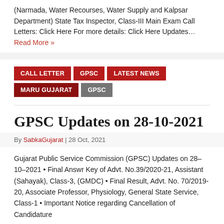(Narmada, Water Recourses, Water Supply and Kalpsar Department) State Tax Inspector, Class-III Main Exam Call Letters: Click Here For more details: Click Here Updates… Read More »
CALL LETTER
GPSC
LATEST NEWS
Maru Gujarat
GPSC
GPSC Updates on 28-10-2021
By SabkaGujarat | 28 Oct, 2021
Gujarat Public Service Commission (GPSC) Updates on 28–10–2021 • Final Answr Key of Advt. No.39/2020-21, Assistant (Sahayak), Class-3, (GMDC) • Final Result, Advt. No. 70/2019-20, Associate Professor, Physiology, General State Service, Class-1 • Important Notice regarding Cancellation of Candidature